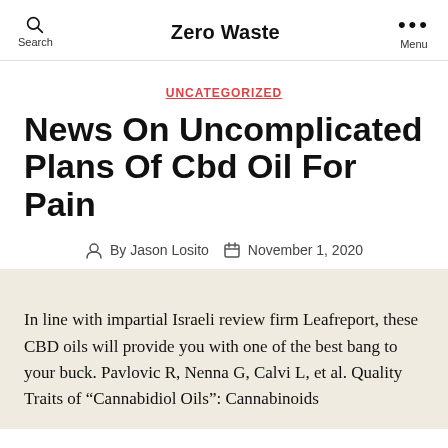Zero Waste
UNCATEGORIZED
News On Uncomplicated Plans Of Cbd Oil For Pain
By Jason Losito   November 1, 2020
In line with impartial Israeli review firm Leafreport, these CBD oils will provide you with one of the best bang to your buck. Pavlovic R, Nenna G, Calvi L, et al. Quality Traits of “Cannabidiol Oils”: Cannabinoids